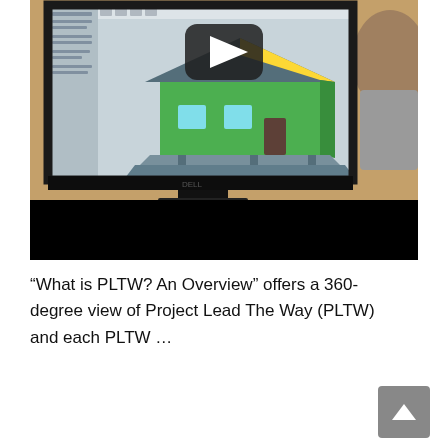[Figure (screenshot): Screenshot of a YouTube-style video thumbnail showing a person viewing a CAD/3D modeling software on a Dell monitor. The screen displays a 3D model of a green house with a gray roof. A play button overlay is visible in the upper center of the video frame. The bottom portion of the video area is a black bar.]
“What is PLTW? An Overview” offers a 360-degree view of Project Lead The Way (PLTW) and each PLTW …